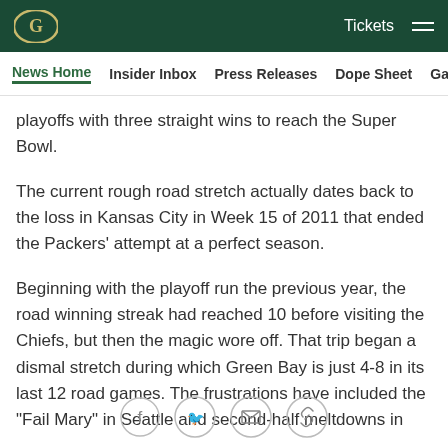Green Bay Packers - Tickets [hamburger menu]
News Home | Insider Inbox | Press Releases | Dope Sheet | Game...
playoffs with three straight wins to reach the Super Bowl.
The current rough road stretch actually dates back to the loss in Kansas City in Week 15 of 2011 that ended the Packers' attempt at a perfect season.
Beginning with the playoff run the previous year, the road winning streak had reached 10 before visiting the Chiefs, but then the magic wore off. That trip began a dismal stretch during which Green Bay is just 4-8 in its last 12 road games. The frustrations have included the "Fail Mary" in Seattle and second-half meltdowns in
[Figure (other): Social sharing icons row: Facebook, Twitter, email, link/chain]